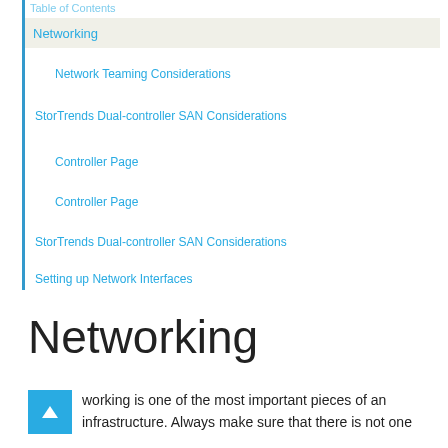Table of Contents
Networking
Network Teaming Considerations
StorTrends Dual-controller SAN Considerations
Controller Page
Controller Page
StorTrends Dual-controller SAN Considerations
Setting up Network Interfaces
Networking
working is one of the most important pieces of an infrastructure. Always make sure that there is not one